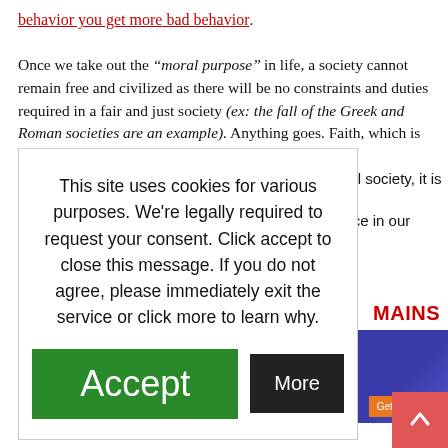behavior you get more bad behavior. Once we take out the "moral purpose" in life, a society cannot remain free and civilized as there will be no constraints and duties required in a fair and just society (ex: the fall of the Greek and Roman societies are an example). Anything goes. Faith, which is condemned in many of our institutions, such as in ... civil society, it is ... pace in our
This site uses cookies for various purposes. We're legally required to request your consent. Click accept to close this message. If you do not agree, please immediately exit the service or click more to learn why.
Accept
More
MAINS
[Figure (screenshot): Advertisement box with blue/purple background and orange Get Started button]
[Figure (other): Red scroll-to-top button with white upward arrow]